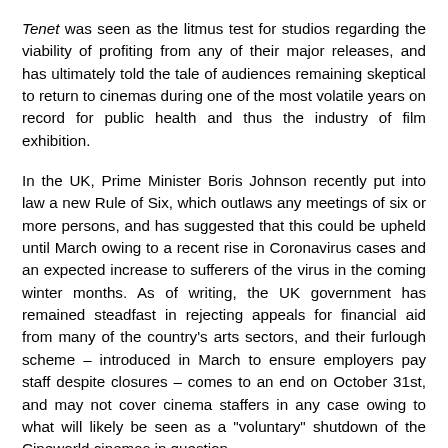Tenet was seen as the litmus test for studios regarding the viability of profiting from any of their major releases, and has ultimately told the tale of audiences remaining skeptical to return to cinemas during one of the most volatile years on record for public health and thus the industry of film exhibition.
In the UK, Prime Minister Boris Johnson recently put into law a new Rule of Six, which outlaws any meetings of six or more persons, and has suggested that this could be upheld until March owing to a recent rise in Coronavirus cases and an expected increase to sufferers of the virus in the coming winter months. As of writing, the UK government has remained steadfast in rejecting appeals for financial aid from many of the country's arts sectors, and their furlough scheme – introduced in March to ensure employers pay staff despite closures – comes to an end on October 31st, and may not cover cinema staffers in any case owing to what will likely be seen as a "voluntary" shutdown of the Cineworld cinemas in question.